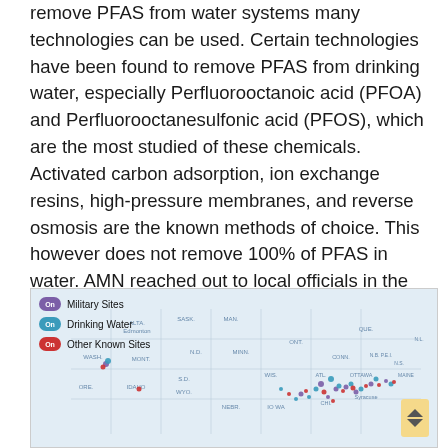remove PFAS from water systems many technologies can be used. Certain technologies have been found to remove PFAS from drinking water, especially Perfluorooctanoic acid (PFOA) and Perfluorooctanesulfonic acid (PFOS), which are the most studied of these chemicals. Activated carbon adsorption, ion exchange resins, high-pressure membranes, and reverse osmosis are the known methods of choice. This however does not remove 100% of PFAS in water. AMN reached out to local officials in the past and will be reaching out again for an update on local PFAS. Albion needs to be sure our water is safe for all residents. We look forward to a long overdue detailed update from City officials.
[Figure (map): Map of the United States showing PFAS contamination sites including Military Sites (purple), Drinking Water (teal), and Other Known Sites (red) marked across the country, with concentration of markers in the eastern and midwestern US regions.]